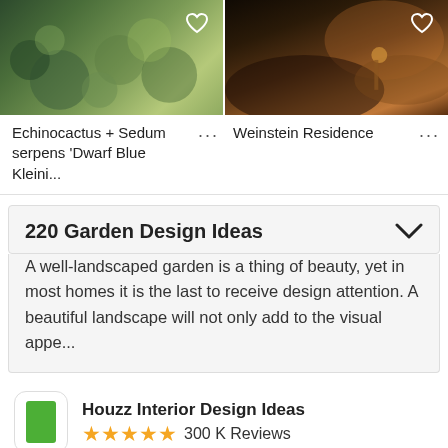[Figure (photo): Two garden/landscape photos side by side. Left: close-up of cactus and succulent plants (Echinocactus + Sedum serpens). Right: Weinstein Residence garden with warm evening lighting.]
Echinocactus + Sedum serpens 'Dwarf Blue Kleini...
Weinstein Residence
220 Garden Design Ideas
A well-landscaped garden is a thing of beauty, yet in most homes it is the last to receive design attention. A beautiful landscape will not only add to the visual appe...
[Figure (logo): Houzz app logo — green square icon with rounded corners]
Houzz Interior Design Ideas
★★★★★ 300 K Reviews
View millions of Garden Photos in the free Houzz iPhone app.
Continue
Go to Mobile Site